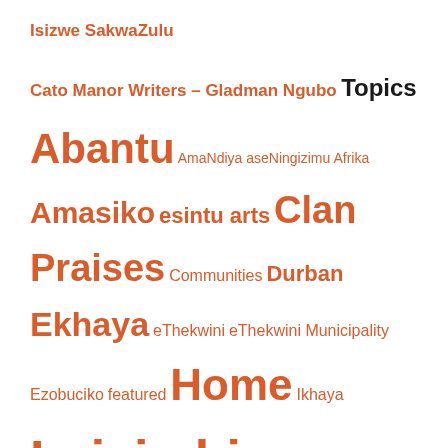Isizwe SakwaZulu
Cato Manor Writers – Gladman Ngubo
Topics
Abantu AmaNdiya aseNingizimu Afrika Amasiko esintu arts Clan Praises Communities Durban Ekhaya eThekwini eThekwini Municipality Ezobuciko featured Home Ikhaya Imicimbi yesintu Imidlalo yomdabu Imilando ngabantu Imiphakathi Imithi